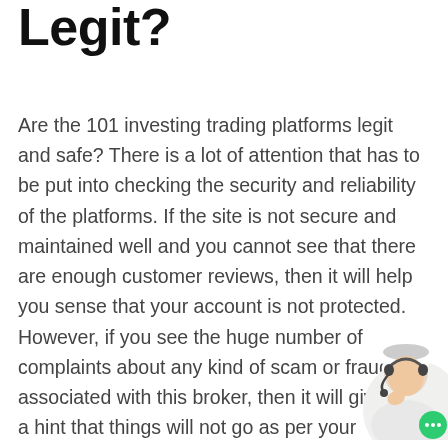Legit?
Are the 101 investing trading platforms legit and safe? There is a lot of attention that has to be put into checking the security and reliability of the platforms. If the site is not secure and maintained well and you cannot see that there are enough customer reviews, then it will help you sense that your account is not protected. However, if you see the huge number of complaints about any kind of scam or fraud associated with this broker, then it will give you a hint that things will not go as per your expectations after joining such a platform.
This is another important thing to check before such a platform as there should not be any reaso...
[Figure (photo): Customer service representative woman wearing a headset, partially visible in bottom-right corner with a green chat bubble icon]